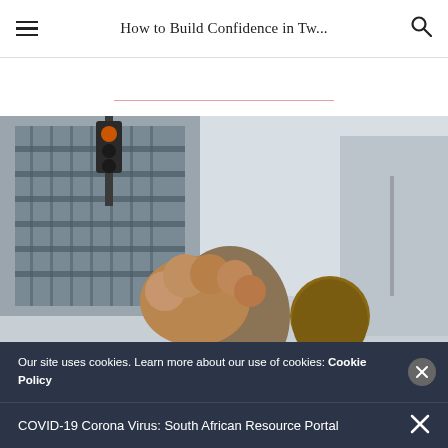How to Build Confidence in Tw...
[Figure (photo): Street photo of a person with curly hair in front of a building with metal balconies and urban architecture]
Our site uses cookies. Learn more about our use of cookies: Cookie Policy
COVID-19 Corona Virus: South African Resource Portal